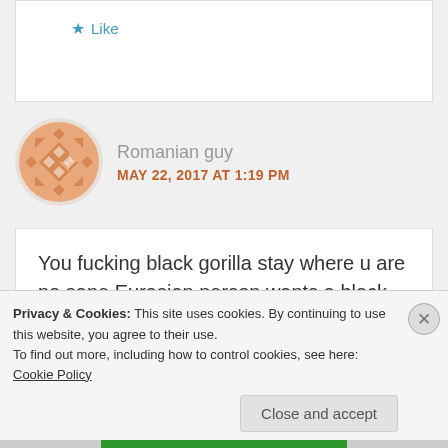[Figure (screenshot): Partial comment box with Like button (star icon) visible at top]
★ Like
[Figure (illustration): Orange geometric/quilt pattern avatar for user 'Romanian guy']
Romanian guy
MAY 22, 2017 AT 1:19 PM
You fucking black gorilla stay where u are no sane Eurasian person wants a black nigerian scammer rapist drug dealer and shitty african culture in our best
Privacy & Cookies: This site uses cookies. By continuing to use this website, you agree to their use.
To find out more, including how to control cookies, see here: Cookie Policy
Close and accept